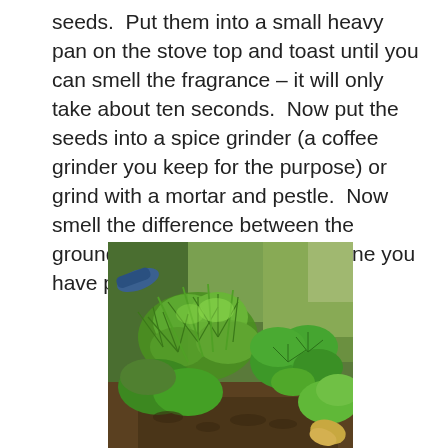seeds.  Put them into a small heavy pan on the stove top and toast until you can smell the fragrance – it will only take about ten seconds.  Now put the seeds into a spice grinder (a coffee grinder you keep for the purpose) or grind with a mortar and pestle.  Now smell the difference between the ground cumin you buy and the one you have prepared.
[Figure (photo): A photograph of green leafy herb plants growing in a garden, showing feathery and broad-leaved varieties growing close together in soil.]